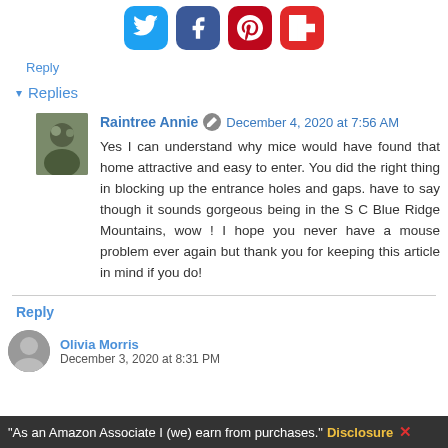[Figure (screenshot): Social media share icons: Twitter (blue), Facebook (dark blue), Pinterest (red), Flipboard (red)]
Reply
▾ Replies
Raintree Annie  December 4, 2020 at 7:56 AM
Yes I can understand why mice would have found that home attractive and easy to enter. You did the right thing in blocking up the entrance holes and gaps. have to say though it sounds gorgeous being in the S C Blue Ridge Mountains, wow ! I hope you never have a mouse problem ever again but thank you for keeping this article in mind if you do!
Reply
Olivia Morris  December 3, 2020 at 8:31 PM
"As an Amazon Associate I (we) earn from purchases." Disclosure ✕